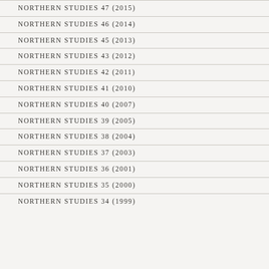NORTHERN STUDIES 47 (2015)
NORTHERN STUDIES 46 (2014)
NORTHERN STUDIES 45 (2013)
NORTHERN STUDIES 43 (2012)
NORTHERN STUDIES 42 (2011)
NORTHERN STUDIES 41 (2010)
NORTHERN STUDIES 40 (2007)
NORTHERN STUDIES 39 (2005)
NORTHERN STUDIES 38 (2004)
NORTHERN STUDIES 37 (2003)
NORTHERN STUDIES 36 (2001)
NORTHERN STUDIES 35 (2000)
NORTHERN STUDIES 34 (1999)